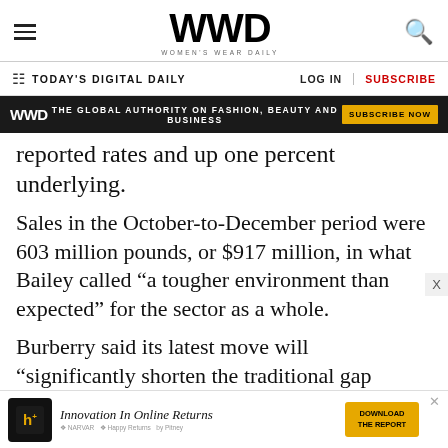WWD — Women's Wear Daily
TODAY'S DIGITAL DAILY | LOG IN | SUBSCRIBE
[Figure (other): WWD promotional banner: 'THE GLOBAL AUTHORITY ON FASHION, BEAUTY AND BUSINESS' with SUBSCRIBE NOW button]
reported rates and up one percent underlying.
Sales in the October-to-December period were 603 million pounds, or $917 million, in what Bailey called “a tougher environment than expected” for the sector as a whole.
Burberry said its latest move will “significantly shorten the traditional gap between the runway show and retail availability.”
[Figure (other): Advertisement banner: 'Innovation In Online Returns' with DOWNLOAD THE REPORT button, showing Narvar and Happy Returns logos]